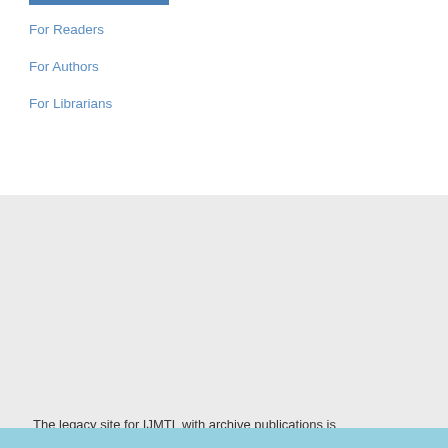For Readers
For Authors
For Librarians
The legacy site for IJMTL with archive publications is accessible at www.cimt.org.uk/journal/
Platform & workflow by OJS / PKP